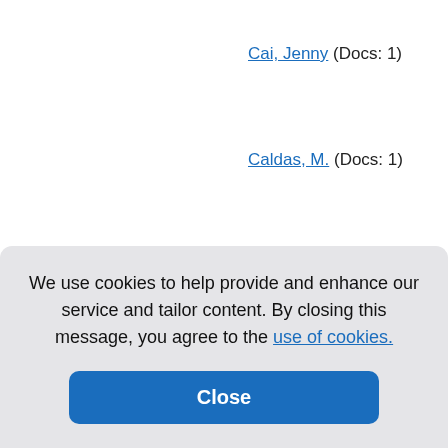Cai, Jenny (Docs: 1)
Caldas, M. (Docs: 1)
Caldas, Milke (Docs: 1)
Calis, K A (Docs: 1)
Callahan, James M (Docs:
Callanan, Laura (Docs: 1)
(Docs: 1)
(Docs: 1)
A (Docs:
Vanessa
We use cookies to help provide and enhance our service and tailor content. By closing this message, you agree to the use of cookies.
Close